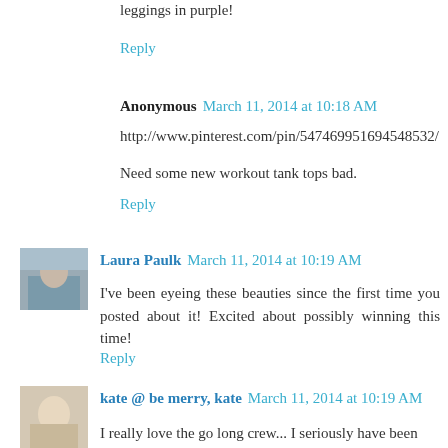leggings in purple!
Reply
Anonymous  March 11, 2014 at 10:18 AM
http://www.pinterest.com/pin/547469951694548532/
Need some new workout tank tops bad.
Reply
Laura Paulk  March 11, 2014 at 10:19 AM
I've been eyeing these beauties since the first time you posted about it! Excited about possibly winning this time!
Reply
kate @ be merry, kate  March 11, 2014 at 10:19 AM
I really love the go long crew... I seriously have been eyeing it for a ridiculous amount of time.